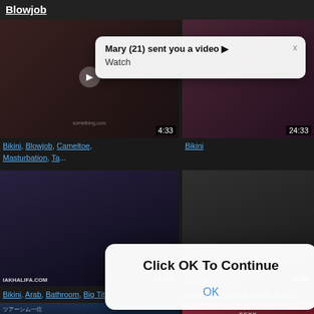Blowjob
[Figure (screenshot): Adult video thumbnail top-left, duration 4:33]
[Figure (screenshot): Adult video thumbnail top-right, duration 24:33]
Bikini, Blowjob, Cameltoe, Masturbation, Ta...
Bikini
[Figure (screenshot): Notification popup: Mary (21) sent you a video ▶ Watch]
[Figure (screenshot): Dialog popup: Click OK To Continue, OK button]
[Figure (screenshot): Adult video thumbnail middle-left, IAKHALIFA.COM watermark, duration 11:59]
[Figure (screenshot): Adult video thumbnail middle-right, Hello... text, duration 6:00]
Bikini, Arab, Bathroom, Big Tits, Shower
Bikini, Cumshot, Blowjob, Teen, Girlfriend
[Figure (screenshot): Adult video thumbnail bottom-left, Japanese text]
[Figure (screenshot): Adult video thumbnail bottom-right, SEXY IRELANDVIDEO text]